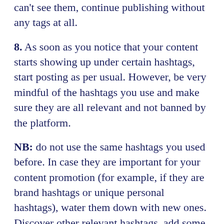can't see them, continue publishing without any tags at all.
8. As soon as you notice that your content starts showing up under certain hashtags, start posting as per usual. However, be very mindful of the hashtags you use and make sure they are all relevant and not banned by the platform.
NB: do not use the same hashtags you used before. In case they are important for your content promotion (for example, if they are brand hashtags or unique personal hashtags), water them down with new ones. Discover other relevant hashtags, add some of your